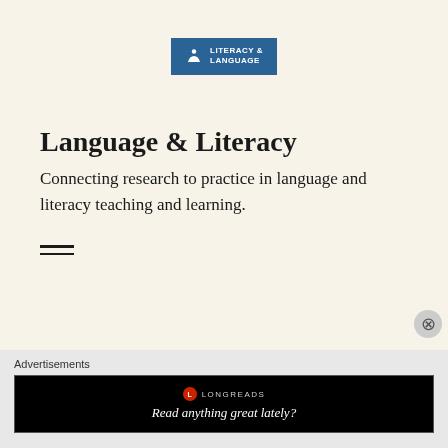[Figure (logo): Literacy & Language badge logo in blue with white icon of a person reading and text 'LITERACY & LANGUAGE']
Language & Literacy
Connecting research to practice in language and literacy teaching and learning.
[Figure (other): Hamburger menu icon with two horizontal lines]
Advertisements
[Figure (other): Longreads advertisement banner with black background, Longreads logo and text 'Read anything great lately?']